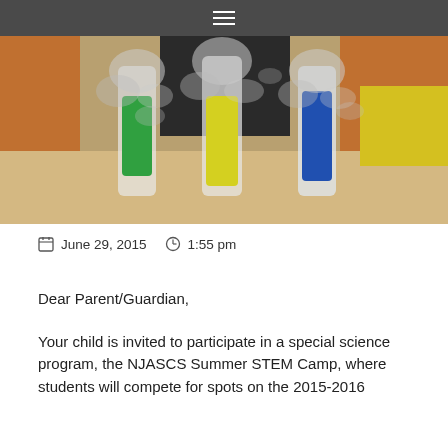☰
[Figure (photo): Science experiment photo showing three large graduated cylinders or beakers with dry ice smoke billowing out. Green, yellow, and blue colored liquids are visible in the cylinders on a table. A person in a black shirt and another in yellow shirt are partially visible in the background with orange curtains.]
June 29, 2015   1:55 pm
Dear Parent/Guardian,
Your child is invited to participate in a special science program, the NJASCS Summer STEM Camp, where students will compete for spots on the 2015-2016